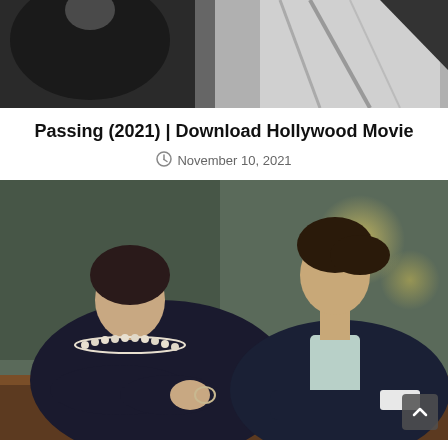[Figure (photo): Black and white close-up photo showing two people, one in a dark jacket and another in a light top, cropped at the top portion]
Passing (2021) | Download Hollywood Movie
November 10, 2021
[Figure (photo): Color photo of a woman with dark hair and pearl necklace seated across from a man in a dark suit jacket, both with arms resting on a table, bokeh background with warm tones]